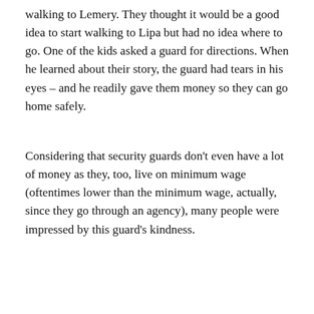walking to Lemery. They thought it would be a good idea to start walking to Lipa but had no idea where to go. One of the kids asked a guard for directions. When he learned about their story, the guard had tears in his eyes – and he readily gave them money so they can go home safely.
Considering that security guards don't even have a lot of money as they, too, live on minimum wage (oftentimes lower than the minimum wage, actually, since they go through an agency), many people were impressed by this guard's kindness.